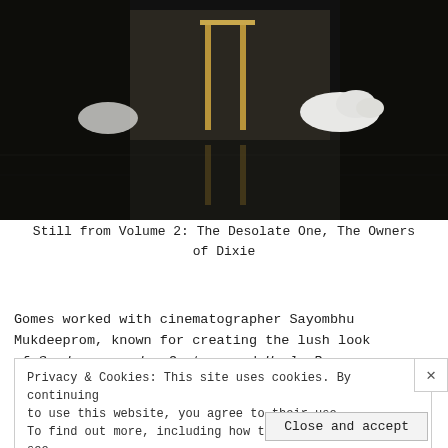[Figure (photo): Film still from a dark interior room, showing a white dog on a shiny dark floor near a doorway with golden/brass fixtures, taken from Volume 2: The Desolate One, The Owners of Dixie]
Still from Volume 2: The Desolate One, The Owners of Dixie
Gomes worked with cinematographer Sayombhu Mukdeeprom, known for creating the lush look of Syndromes and a Century and Uncle Boonmee Who Can Recall His Past Lives (among others)
Privacy & Cookies: This site uses cookies. By continuing to use this website, you agree to their use.
To find out more, including how to control cookies, see here: Cookie Policy
Close and accept